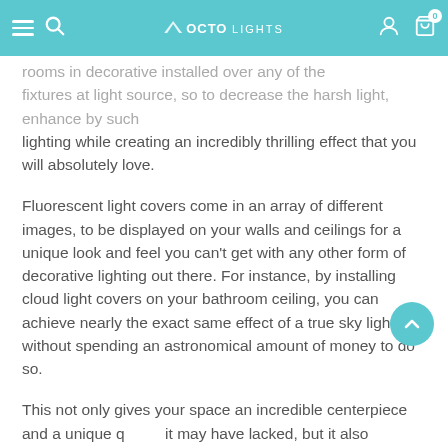OCTO LIGHTS
rooms in decorative… installed over any of the fixtures at light source, to decrease the harsh light, enhance by such lighting while creating an incredibly thrilling effect that you will absolutely love.
Fluorescent light covers come in an array of different images, to be displayed on your walls and ceilings for a unique look and feel you can't get with any other form of decorative lighting out there. For instance, by installing cloud light covers on your bathroom ceiling, you can achieve nearly the exact same effect of a true sky light, without spending an astronomical amount of money to do so.
This not only gives your space an incredible centerpiece and a unique quality it may have lacked, but it also expands the space as well to create the illusion of more room.
Now that you're aware of what light covers are, and how they're installed, let's explore the best decorative light covers available to help you enhance your interior Halloween display.